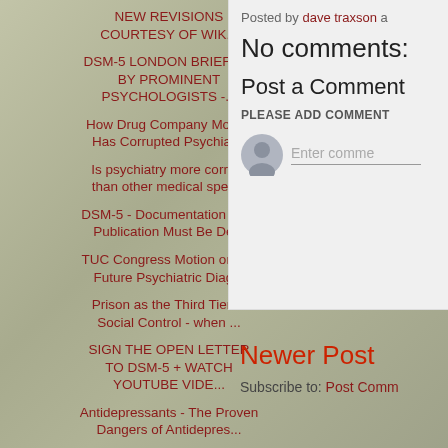NEW REVISIONS COURTESY OF WIK...
DSM-5 LONDON BRIEFING BY PROMINENT PSYCHOLOGISTS -...
How Drug Company Money Has Corrupted Psychiatry
Is psychiatry more corrupt than other medical spec...
DSM-5 - Documentation That Publication Must Be De...
TUC Congress Motion on the Future Psychiatric Diag...
Prison as the Third Tier of Social Control - when ...
SIGN THE OPEN LETTER TO DSM-5 + WATCH YOUTUBE VIDE...
Antidepressants - The Proven Dangers of Antidepres...
DSM-5 - The Association of Educational Psychologis...
Posted by dave traxson a
No comments:
Post a Comment
PLEASE ADD COMMENT
Enter comme
Newer Post
Subscribe to: Post Comm